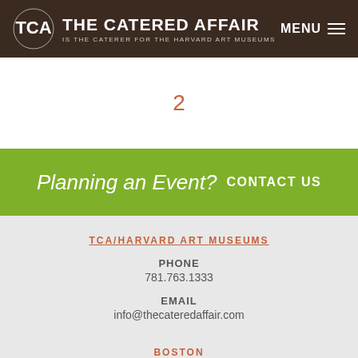THE CATERED AFFAIR IS THE CATERER FOR THE HARVARD ART MUSEUMS | MENU
2
Planning an Event? CONTACT US
TCA/HARVARD ART MUSEUMS
PHONE 781.763.1333
EMAIL info@thecateredaffair.com
BOSTON